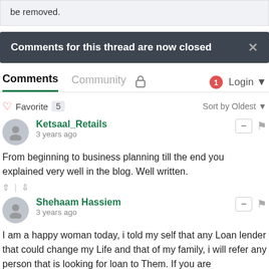be removed.
Comments for this thread are now closed
Comments   Community   🔒   1   Login
♡ Favorite 5   Sort by Oldest
Ketsaal_Retails
3 years ago
From beginning to business planning till the end you explained very well in the blog. Well written.
Shehaam Hassiem
3 years ago
I am a happy woman today, i told my self that any Loan lender that could change my Life and that of my family, i will refer any person that is looking for loan to Them. If you are